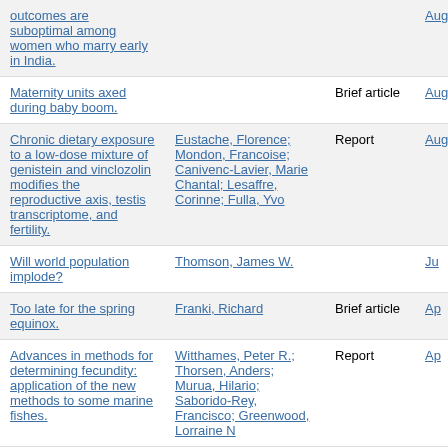| Title | Author | Type | Date |
| --- | --- | --- | --- |
| outcomes are suboptimal among women who marry early in India. |  |  | Aug |
| Maternity units axed during baby boom. |  | Brief article | Aug |
| Chronic dietary exposure to a low-dose mixture of genistein and vinclozolin modifies the reproductive axis, testis transcriptome, and fertility. | Eustache, Florence; Mondon, Francoise; Canivenc-Lavier, Marie Chantal; Lesaffre, Corinne; Fulla, Yvo | Report | Aug |
| Will world population implode? | Thomson, James W. |  | Ju |
| Too late for the spring equinox. | Franki, Richard | Brief article | Ap |
| Advances in methods for determining fecundity: application of the new methods to some marine fishes. | Witthames, Peter R.; Thorsen, Anders; Murua, Hilario; Saborido-Rey, Francisco; Greenwood, Lorraine N | Report | Ap |